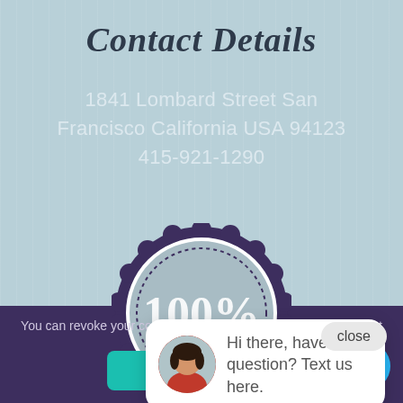Contact Details
1841 Lombard Street San Francisco California USA 94123
415-921-1290
[Figure (illustration): A circular badge/seal with dark purple scalloped border, grey interior, dotted inner ring, and '100%' text in large white letters.]
[Figure (screenshot): Chat popup bubble with a woman's avatar photo and text 'Hi there, have a question? Text us here.' with a close button above it.]
You can revoke your consent any time using the Revoke consent button.
Revoke consent
[Figure (illustration): Round cyan/blue chat icon button in the bottom-right corner.]